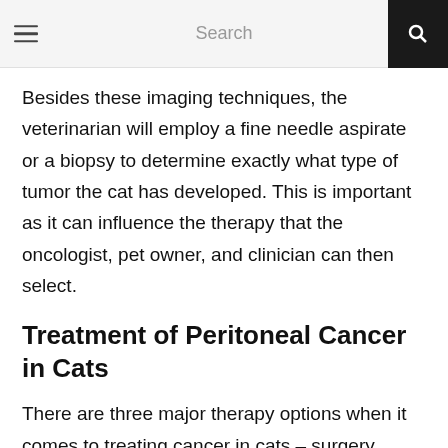Search
Besides these imaging techniques, the veterinarian will employ a fine needle aspirate or a biopsy to determine exactly what type of tumor the cat has developed. This is important as it can influence the therapy that the oncologist, pet owner, and clinician can then select.
Treatment of Peritoneal Cancer in Cats
There are three major therapy options when it comes to treating cancer in cats – surgery,